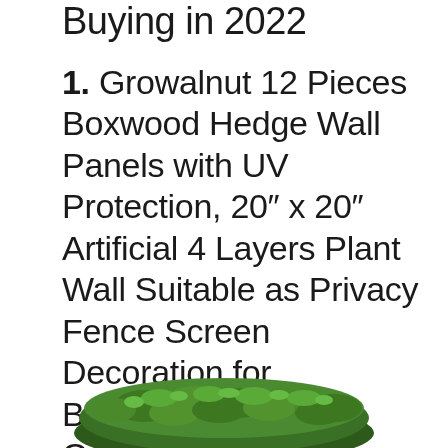Buying in 2022
1. Growalnut 12 Pieces Boxwood Hedge Wall Panels with UV Protection, 20″ x 20″ Artificial 4 Layers Plant Wall Suitable as Privacy Fence Screen Decoration for Backdrop, Indoor, Outdoor, Home Office
[Figure (photo): Photo of green artificial boxwood hedge/plant wall panel at the bottom of the page]